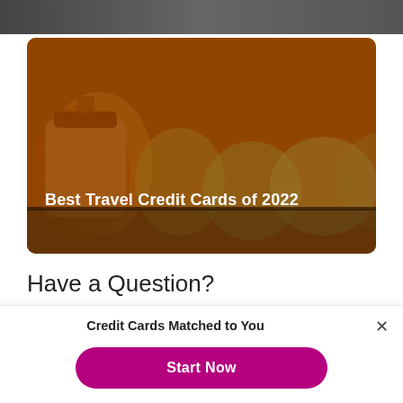[Figure (photo): Top partial strip of a dark image, partially cut off at the top of the page]
[Figure (photo): Photo of orange and yellow travel suitcases on a conveyor belt with a dark overlay and bold white text reading 'Best Travel Credit Cards of 2022']
Have a Question?
Please do not include any personally identifying information with your question, such as your email address, phone number, or Social Security number.
Credit Cards Matched to You
Start Now